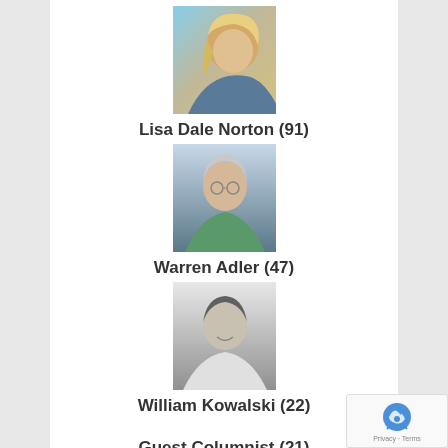[Figure (photo): Profile photo of Lisa Dale Norton, woman with blonde hair in profile view]
Lisa Dale Norton (91)
[Figure (photo): Profile photo of Warren Adler, older man with glasses]
Warren Adler (47)
[Figure (photo): Profile photo of William Kowalski, man smiling, black and white photo]
William Kowalski (22)
Guest Columnist (21)
[Figure (photo): Profile photo of Julianne B. McCullagh, woman with brown hair]
Julianne B. McCullagh (3)